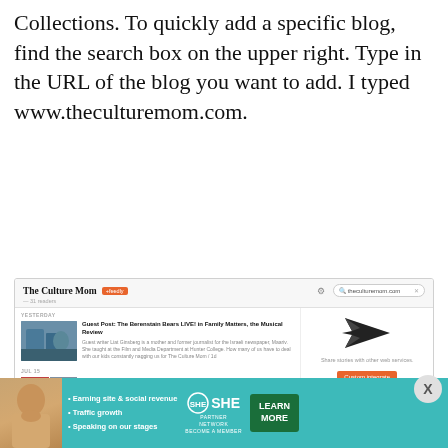Collections. To quickly add a specific blog, find the search box on the upper right. Type in the URL of the blog you want to add. I typed www.theculturemom.com.
[Figure (screenshot): Screenshot of Feedly interface showing The Culture Mom blog feed with two articles: 'Guest Post: The Berenstain Bears LIVE! in Family Matters, the Musical Review' and 'A Family Trip to Hershey, Pennsylvania'. A search box shows theculturemom.com. A sidebar shows a paper airplane icon with 'Share stories with other web services' and a 'Custom integrate' button.]
The search brought up the feed from The
[Figure (advertisement): SHE Partner Network advertisement banner with teal background. Shows woman photo, bullet points: Earning site & social revenue, Traffic growth, Speaking on our stages. SHE PARTNER NETWORK BECOME A MEMBER logo and LEARN MORE green button.]